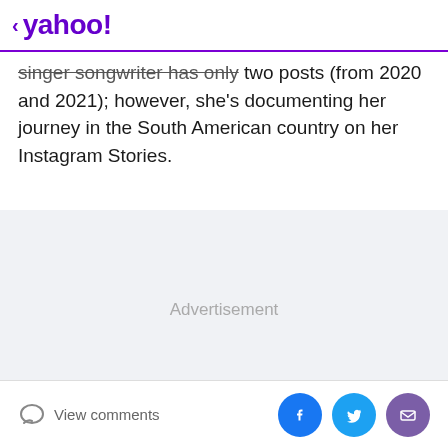< yahoo!
singer songwriter has only two posts (from 2020 and 2021); however, she's documenting her journey in the South American country on her Instagram Stories.
[Figure (other): Advertisement placeholder area with gray background]
View comments